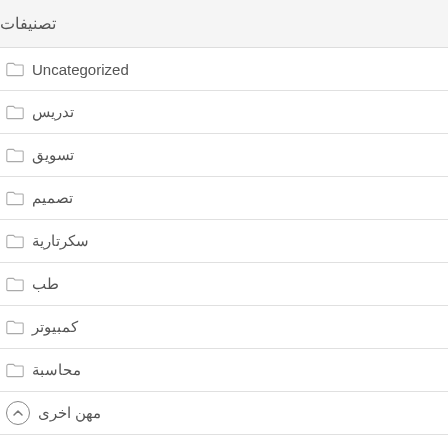تصنيفات
Uncategorized
تدريس
تسويق
تصميم
سكرتارية
طب
كمبيوتر
محاسبة
مهن اخرى
هندسة